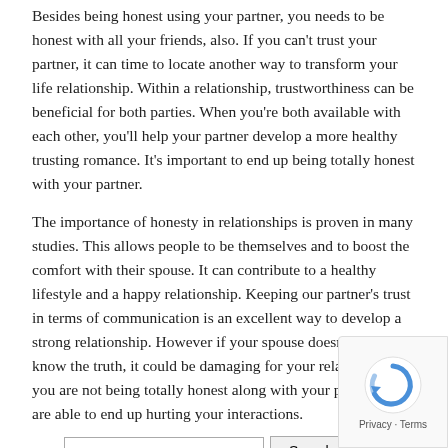Besides being honest using your partner, you needs to be honest with all your friends, also. If you can't trust your partner, it can time to locate another way to transform your life relationship. Within a relationship, trustworthiness can be beneficial for both parties. When you're both available with each other, you'll help your partner develop a more healthy trusting romance. It's important to end up being totally honest with your partner.
The importance of honesty in relationships is proven in many studies. This allows people to be themselves and to boost the comfort with their spouse. It can contribute to a healthy lifestyle and a happy relationship. Keeping our partner's trust in terms of communication is an excellent way to develop a strong relationship. However if your spouse doesn't let you know the truth, it could be damaging for your relationship. If you are not being totally honest along with your partners, you are able to end up hurting your interactions.
Search
Pages
#1197 (no title)
About Us